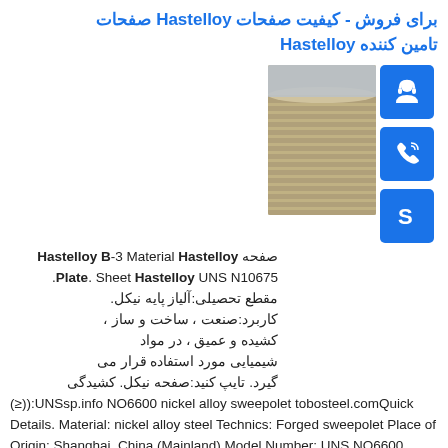برای فروش - کیفیت صفحات Hastelloy صفحات تامین کننده Hastelloy
صفحه Hastelloy B-3 Material Hastelloy Plate. Sheet Hastelloy UNS N10675. مقطع تحصیلی:آلیاز پایه نیکل. کاربرد:صنعت ، ساخت و ساز ، کشیده و عمیق ، در مواد شیمیایی مورد استفاده قرار می گیرد. تایپ کنید:صفحه نیکل. کشیدگی (≥)):UNSsp.info NO6600 nickel alloy sweepolet tobosteel.comQuick Details. Material: nickel alloy steel Technics: Forged sweepolet Place of Origin: Shanghai, China (Mainland) Model Number: UNS NO6600 nickel alloy sweepolet Brand Name: TOBO Group Connection: Welding Shape: Equal Head Code: Round Name1: Alloy 600 weldolet flangolet elbolet sweepolet saddle nipolet Name2: Inconel 600 weldolet flangolet elbolet sweepolet saddle nipoletsp.info
[Figure (photo): Stacked Hastelloy metal plates photo]
[Figure (infographic): Three blue icon buttons: headset/support, phone, and Skype icons]